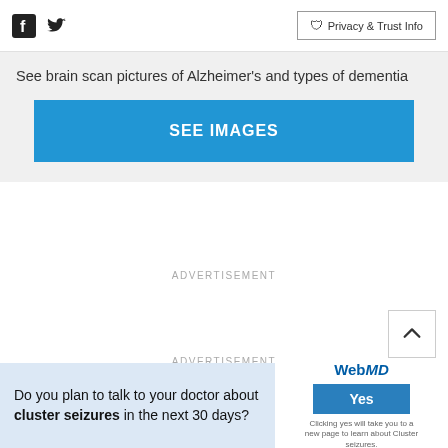Facebook Twitter | Privacy & Trust Info
See brain scan pictures of Alzheimer's and types of dementia
[Figure (screenshot): Blue 'SEE IMAGES' call-to-action button]
ADVERTISEMENT
ADVERTISEMENT
Do you plan to talk to your doctor about cluster seizures in the next 30 days?
[Figure (screenshot): WebMD Yes button widget with fine print: Clicking yes will take you to a new page to learn about Cluster seizures.]